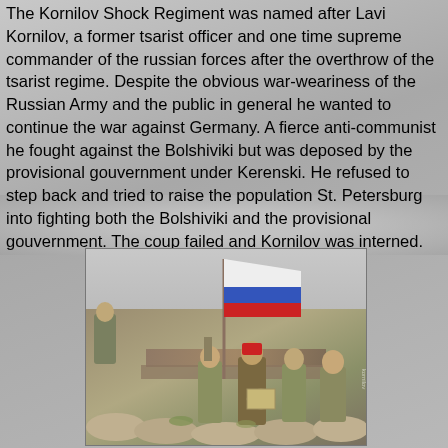The Kornilov Shock Regiment was named after Lavi Kornilov, a former tsarist officer and one time supreme commander of the russian forces after the overthrow of the tsarist regime. Despite the obvious war-weariness of the Russian Army and the public in general he wanted to continue the war against Germany. A fierce anti-communist he fought against the Bolshiviki but was deposed by the provisional gouvernment under Kerenski. He refused to step back and tried to raise the population St. Petersburg into fighting both the Bolshiviki and the provisional gouvernment. The coup failed and Kornilov was interned.
[Figure (photo): Photo of painted miniature figurines depicting soldiers of the Kornilov Shock Regiment, with a Russian tricolor flag (white, blue, red) being carried by one figure, set in a diorama with sandbag fortifications.]